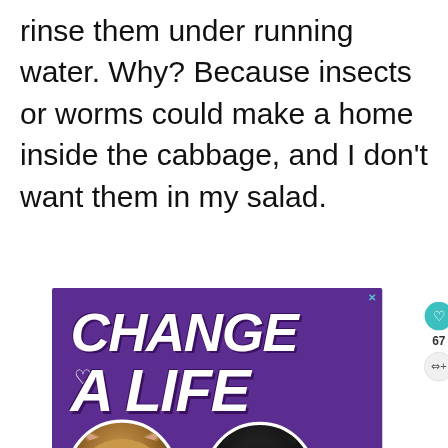rinse them under running water. Why? Because insects or worms could make a home inside the cabbage, and I don't want them in my salad.
[Figure (screenshot): Advertisement banner with purple background showing 'CHANGE A LIFE' text in large bold white italic font with two cats (a tabby and a black cat) in circular frames. Below is a 'SHE CAN STEM' dark banner. Social media sidebar shows heart icon with count 67 and share icon. 'WHAT'S NEXT' panel shows 'How To Preserve Ho...']